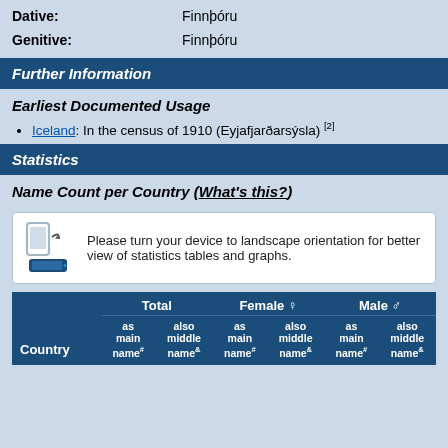Dative: Finnþóru
Genitive: Finnþóru
Further Information
Earliest Documented Usage
Iceland: In the census of 1910 (Eyjafjarðarsýsla) [2]
Statistics
Name Count per Country (What's this?)
Please turn your device to landscape orientation for better view of statistics tables and graphs.
| Country | Total as main name# | Total also middle name& | Female as main name# | Female also middle name& | Male as main name# | Male also middle name& |
| --- | --- | --- | --- | --- | --- | --- |